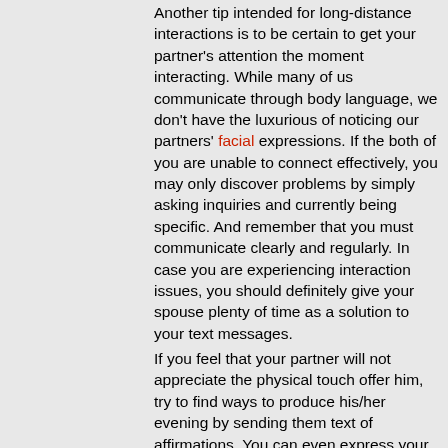Another tip intended for long-distance interactions is to be certain to get your partner's attention the moment interacting. While many of us communicate through body language, we don't have the luxurious of noticing our partners' facial expressions. If the both of you are unable to connect effectively, you may only discover problems by simply asking inquiries and currently being specific. And remember that you must communicate clearly and regularly. In case you are experiencing interaction issues, you should definitely give your spouse plenty of time as a solution to your text messages.
If you feel that your partner will not appreciate the physical touch offer him, try to find ways to produce his/her evening by sending them text of affirmations. You can even express your like and thanks through art or perhaps poetry. Long distance interactions can be very significant and passionate, and period spent doing something confident together can boost your love. You may spend time performing sports, reading poetry, or painting with each other. Paintings are an excellent method to express your feelings for your partner. Besides, this will give you the chance to grow emotionally. You can also promote your imaginative side with your partner and produce beautiful presents.
Good interaction is essential in a long-distance